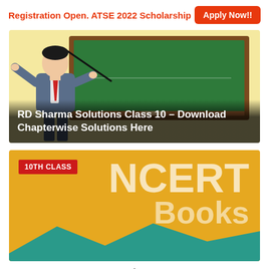Registration Open. ATSE 2022 Scholarship  Apply Now!!
[Figure (illustration): Illustration of a teacher in a suit pointing at a green chalkboard, with text overlay: RD Sharma Solutions Class 10 – Download Chapterwise Solutions Here]
RD Sharma Solutions Class 10 – Download Chapterwise Solutions Here
[Figure (illustration): Banner with golden/yellow background showing '10TH CLASS' badge in red, large white text 'NCERT Books', and a teal mountain shape at the bottom]